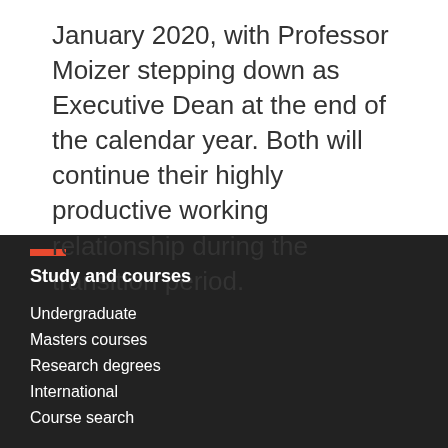January 2020, with Professor Moizer stepping down as Executive Dean at the end of the calendar year. Both will continue their highly productive working relationship during the transition period.
Study and courses
Undergraduate
Masters courses
Research degrees
International
Course search